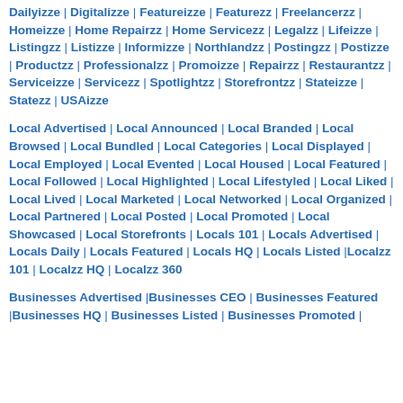Dailyizze | Digitalizze | Featureizze | Featurezz | Freelancerzz | Homeizze | Home Repairzz | Home Servicezz | Legalzz | Lifeizze | Listingzz | Listizze | Informizze | Northlandzz | Postingzz | Postizze | Productzz | Professionalzz | Promoizze | Repairzz | Restaurantzz | Serviceizze | Servicezz | Spotlightzz | Storefrontzz | Stateizze | Statezz | USAizze
Local Advertised | Local Announced | Local Branded | Local Browsed | Local Bundled | Local Categories | Local Displayed | Local Employed | Local Evented | Local Housed | Local Featured | Local Followed | Local Highlighted | Local Lifestyled | Local Liked | Local Lived | Local Marketed | Local Networked | Local Organized | Local Partnered | Local Posted | Local Promoted | Local Showcased | Local Storefronts | Locals 101 | Locals Advertised | Locals Daily | Locals Featured | Locals HQ | Locals Listed | Localzz 101 | Localzz HQ | Localzz 360
Businesses Advertised | Businesses CEO | Businesses Featured | Businesses HQ | Businesses Listed | Businesses Promoted |